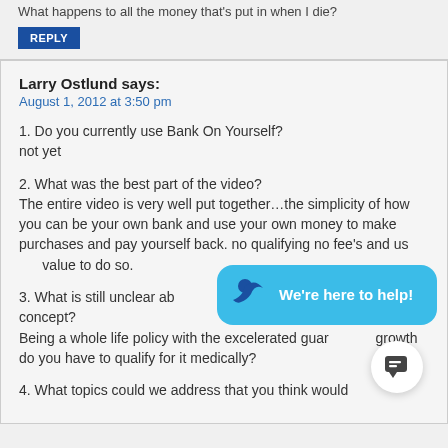What happens to all the money that's put in when I die?
REPLY
Larry Ostlund says:
August 1, 2012 at 3:50 pm
1. Do you currently use Bank On Yourself?
not yet
2. What was the best part of the video?
The entire video is very well put together...the simplicity of how you can be your own bank and use your own money to make purchases and pay yourself back. no qualifying no fee's and us value to do so.
3. What is still unclear about the concept?
Being a whole life policy with the excelerated guaranteed growth do you have to qualify for it medically?
4. What topics could we address that you think would
[Figure (infographic): Live chat overlay bubble with 'We're here to help!' text and a circular chat button]